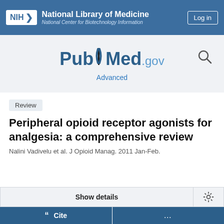NIH National Library of Medicine National Center for Biotechnology Information
[Figure (logo): PubMed.gov logo with search icon and Advanced link]
Review
Peripheral opioid receptor agonists for analgesia: a comprehensive review
Nalini Vadivelu et al. J Opioid Manag. 2011 Jan-Feb.
Show details
Cite
...